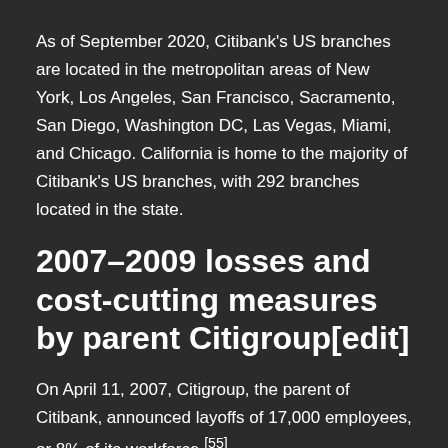As of September 2020, Citibank's US branches are located in the metropolitan areas of New York, Los Angeles, San Francisco, Sacramento, San Diego, Washington DC, Las Vegas, Miami, and Chicago. California is home to the majority of Citibank's US branches, with 292 branches located in the state.
2007–2009 losses and cost-cutting measures by parent Citigroup[edit]
On April 11, 2007, Citigroup, the parent of Citibank, announced layoffs of 17,000 employees, or 8% of its workforce.[55]
On November 4, 2007, Charles Prince resigned as the